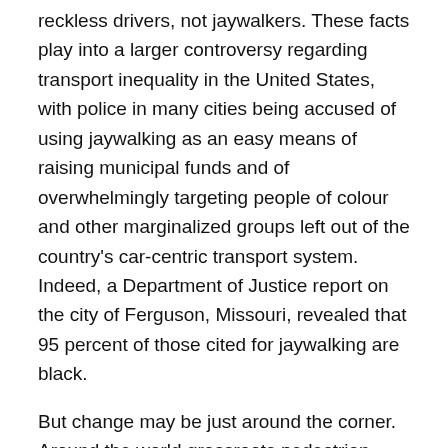reckless drivers, not jaywalkers. These facts play into a larger controversy regarding transport inequality in the United States, with police in many cities being accused of using jaywalking as an easy means of raising municipal funds and of overwhelmingly targeting people of colour and other marginalized groups left out of the country's car-centric transport system. Indeed, a Department of Justice report on the city of Ferguson, Missouri, revealed that 95 percent of those cited for jaywalking are black.
But change may be just around the corner. Around the world grassroots pedestrian organizations like 20's Plenty for Us in the UK are working to lower residential speed limits to reduce pedestrian fatalities, and reimagining urban design to be more pedestrian friendly. One recent success story is New York's Times Square, whose redevelopment as a pedestrian plaza